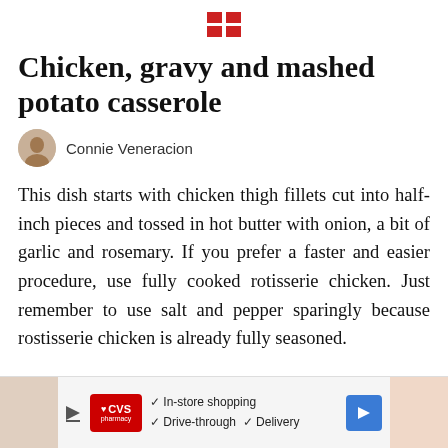[Figure (logo): Small red grid/flag logo icon at top center]
Chicken, gravy and mashed potato casserole
Connie Veneracion
This dish starts with chicken thigh fillets cut into half-inch pieces and tossed in hot butter with onion, a bit of garlic and rosemary. If you prefer a faster and easier procedure, use fully cooked rotisserie chicken. Just remember to use salt and pepper sparingly because rostisserie chicken is already fully seasoned.
[Figure (screenshot): CVS Pharmacy advertisement banner showing In-store shopping, Drive-through, and Delivery options with navigation arrow]